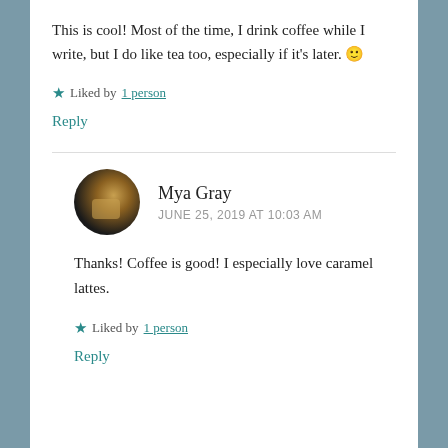This is cool! Most of the time, I drink coffee while I write, but I do like tea too, especially if it's later. 🙂
★ Liked by 1 person
Reply
Mya Gray
JUNE 25, 2019 AT 10:03 AM
Thanks! Coffee is good! I especially love caramel lattes.
★ Liked by 1 person
Reply